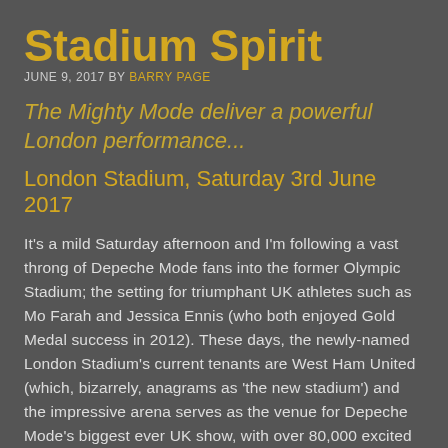Stadium Spirit
JUNE 9, 2017 BY BARRY PAGE
The Mighty Mode deliver a powerful London performance...
London Stadium, Saturday 3rd June 2017
It's a mild Saturday afternoon and I'm following a vast throng of Depeche Mode fans into the former Olympic Stadium; the setting for triumphant UK athletes such as Mo Farah and Jessica Ennis (who both enjoyed Gold Medal success in 2012). These days, the newly-named London Stadium's current tenants are West Ham United (which, bizarrely, anagrams as 'the new stadium') and the impressive arena serves as the venue for Depeche Mode's biggest ever UK show, with over 80,000 excited 40-somethings in attendance. It's the thirteenth stop on the Global Spirit tour, which kicked off in Stockholm on